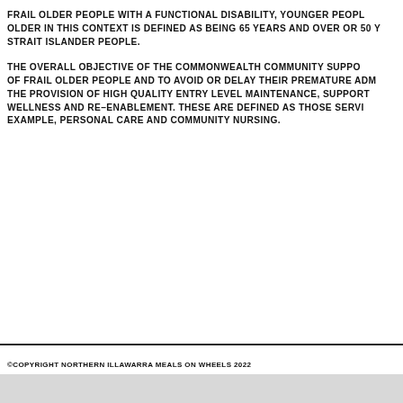FRAIL OLDER PEOPLE WITH A FUNCTIONAL DISABILITY, YOUNGER PEOPLE OLDER IN THIS CONTEXT IS DEFINED AS BEING 65 YEARS AND OVER OR 50 YEARS AND OVER FOR ABORIGINAL AND TORRES STRAIT ISLANDER PEOPLE.
THE OVERALL OBJECTIVE OF THE COMMONWEALTH COMMUNITY SUPPORT PROGRAMME IS TO MAINTAIN THE INDEPENDENCE OF FRAIL OLDER PEOPLE AND TO AVOID OR DELAY THEIR PREMATURE ADMISSION TO RESIDENTIAL CARE, THROUGH THE PROVISION OF HIGH QUALITY ENTRY LEVEL MAINTENANCE, SUPPORT AND CARE SERVICES, INCLUDING THOSE FOCUSED ON WELLNESS AND RE-ENABLEMENT. THESE ARE DEFINED AS THOSE SERVICES THAT CATER TO EVERYDAY LIVING NEEDS. FOR EXAMPLE, PERSONAL CARE AND COMMUNITY NURSING.
©COPYRIGHT NORTHERN ILLAWARRA MEALS ON WHEELS 2022